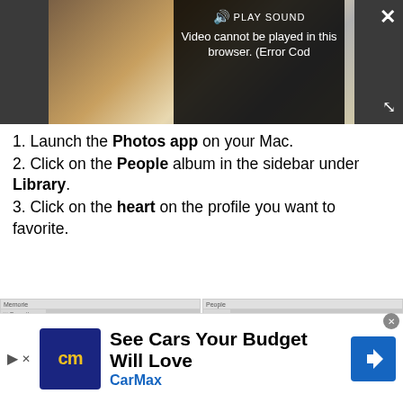[Figure (screenshot): Video player overlay showing a video that cannot be played in the browser, with error message 'Video cannot be played in this browser. (Error Cod' and PLAY SOUND button, close X button, fullscreen icon.]
1. Launch the Photos app on your Mac.
2. Click on the People album in the sidebar under Library.
3. Click on the heart on the profile you want to favorite.
[Figure (screenshot): Two side-by-side screenshots of Mac Photos app showing the Memories/Favorites panel and the People album, both displaying face thumbnails.]
[Figure (screenshot): Advertisement bar for CarMax: 'See Cars Your Budget Will Love' with CarMax logo and navigation arrow icon.]